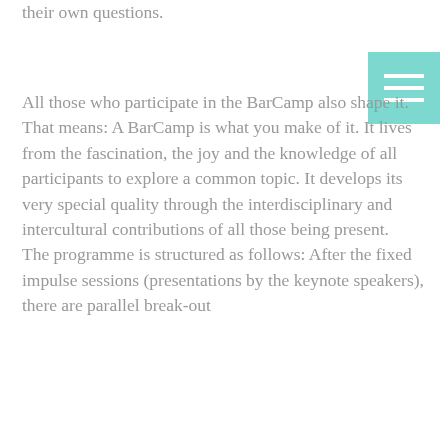their own questions.
[Figure (other): Hamburger menu icon — three horizontal white lines on a teal/mint green square background]
All those who participate in the BarCamp also shape it. That means: A BarCamp is what you make of it. It lives from the fascination, the joy and the knowledge of all participants to explore a common topic. It develops its very special quality through the interdisciplinary and intercultural contributions of all those being present. The programme is structured as follows: After the fixed impulse sessions (presentations by the keynote speakers), there are parallel break-out